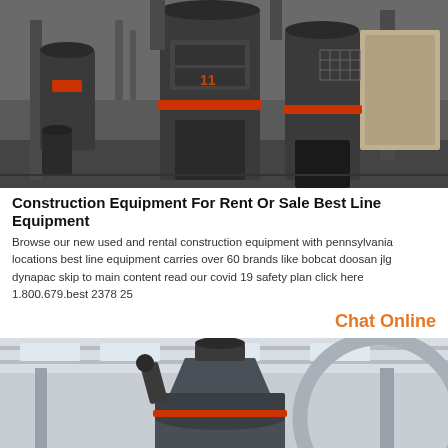[Figure (photo): Industrial construction/mining machinery (cone crushers or similar heavy equipment) in a factory or warehouse setting. Dark grey metallic machines with red accent rings, photographed indoors.]
Construction Equipment For Rent Or Sale Best Line Equipment
Browse our new used and rental construction equipment with pennsylvania locations best line equipment carries over 60 brands like bobcat doosan jlg dynapac skip to main content read our covid 19 safety plan click here 1.800.679.best 2378 25
Chat Online
[Figure (photo): Industrial machinery (cone crusher or similar) inside a large warehouse/factory with structural columns and overhead lighting. Grey cylindrical equipment with red accent bands.]